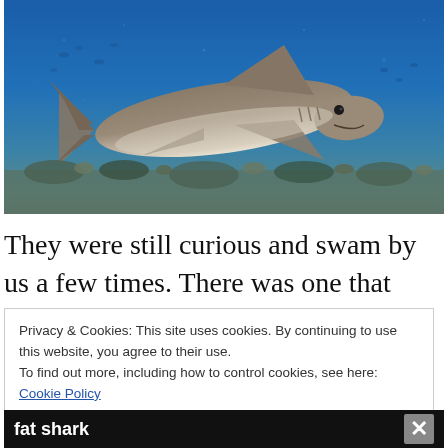[Figure (photo): Underwater photograph of a shark swimming above a coral reef in blue ocean water, viewed from the side at mid-distance. Several small fish visible in the background.]
They were still curious and swam by us a few times. There was one that came straight at me to test me but I held my
Privacy & Cookies: This site uses cookies. By continuing to use this website, you agree to their use.
To find out more, including how to control cookies, see here: Cookie Policy
Close and accept
fat shark